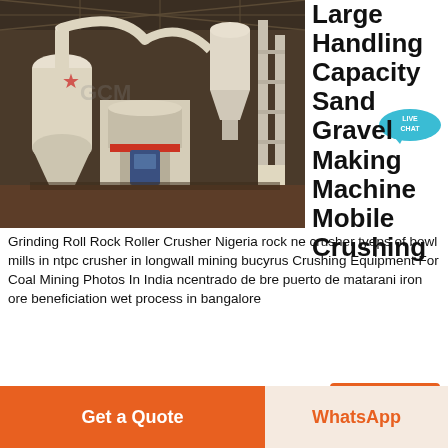[Figure (photo): Industrial grinding/milling machinery in a factory warehouse setting. Large white machines including roller mills, cyclone separators and related equipment on a concrete floor.]
Large Handling Capacity Sand Gravel Making Machine Mobile Crushing
Grinding Roll Rock Roller Crusher Nigeria rock ne crusher tyeps of bowl mills in ntpc crusher in longwall mining bucyrus Crushing Equipment For Coal Mining Photos In India ncentrado de bre puerto de matarani iron ore beneficiation wet process in bangalore
Get Price
Get a Quote
WhatsApp